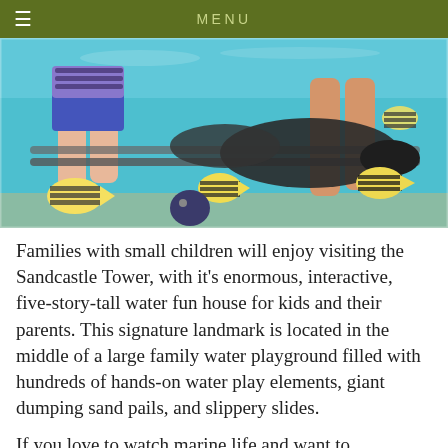MENU
[Figure (photo): Underwater photo showing people standing in shallow water with colorful tropical fish including sergeant major fish and a large dark moray eel swimming around their legs]
Families with small children will enjoy visiting the Sandcastle Tower, with it's enormous, interactive, five-story-tall water fun house for kids and their parents. This signature landmark is located in the middle of a large family water playground filled with hundreds of hands-on water play elements, giant dumping sand pails, and slippery slides.
If you love to watch marine life and want to experience the thrill of getting up close and personal